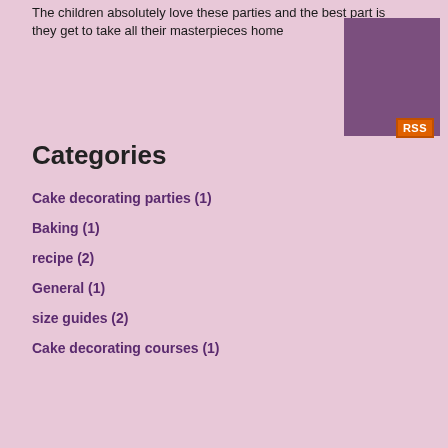The children absolutely love these parties and the best part is they get to take all their masterpieces home
[Figure (illustration): Purple/mauve square decorative image in top right corner]
[Figure (other): Orange RSS badge/button]
Categories
Cake decorating parties (1)
Baking (1)
recipe (2)
General (1)
size guides (2)
Cake decorating courses (1)